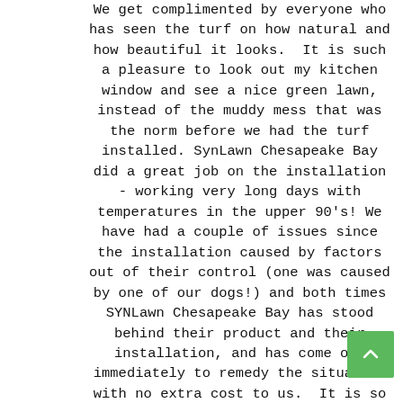We get complimented by everyone who has seen the turf on how natural and how beautiful it looks.  It is such a pleasure to look out my kitchen window and see a nice green lawn, instead of the muddy mess that was the norm before we had the turf installed. SynLawn Chesapeake Bay did a great job on the installation - working very long days with temperatures in the upper 90's! We have had a couple of issues since the installation caused by factors out of their control (one was caused by one of our dogs!) and both times SYNLawn Chesapeake Bay has stood behind their product and their installation, and has come out immediately to remedy the situation with no extra cost to us.  It is so rare to find that kind of customer service, especially after the purchase has been made! We really appreciate knowing